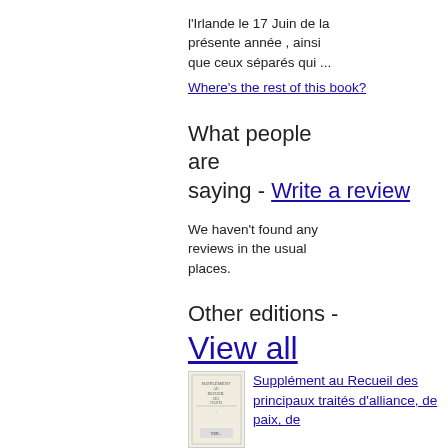l'Irlande le 17 Juin de la présente année , ainsi que ceux séparés qui ...
Where's the rest of this book?
What people are saying - Write a review
We haven't found any reviews in the usual places.
Other editions - View all
[Figure (illustration): Thumbnail of book cover for Supplément au Recueil des principaux traités d'alliance, de paix, de...]
Supplément au Recueil des principaux traités d'alliance, de paix, de...